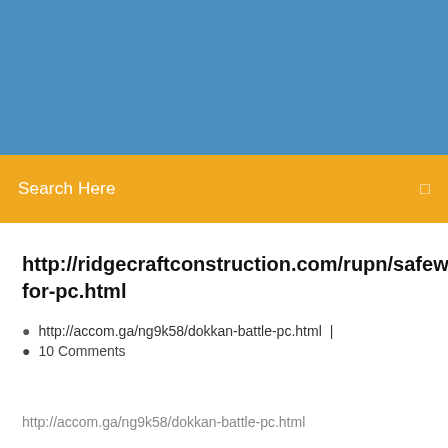[Figure (other): Blue header banner background]
Search Here
http://ridgecraftconstruction.com/rupn/safewiper-for-pc.html
http://accom.ga/ng9k58/dokkan-battle-pc.html  |  10 Comments
http://accom.ga/ng9k58/dokkan-battle-pc.html